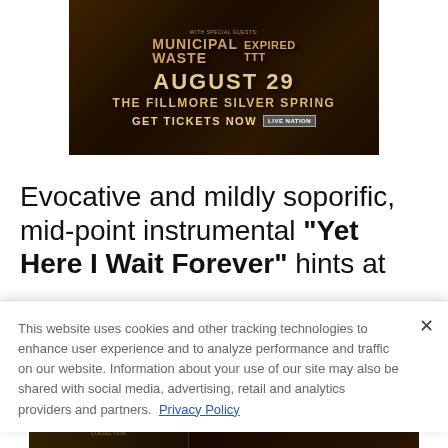[Figure (illustration): Concert advertisement banner for a show at The Fillmore Silver Spring on August 29, featuring Municipal Waste and another band, with 'Get Tickets Now' and Live Nation logo, dark brown/orange themed background]
Evocative and mildly soporific, mid-point instrumental "Yet Here I Wait Forever" hints at
This website uses cookies and other tracking technologies to enhance user experience and to analyze performance and traffic on our website. Information about your use of our site may also be shared with social media, advertising, retail and analytics providers and partners. Privacy Policy
[Figure (illustration): Bottom concert advertisement banner for At The Gates at The Fillmore Silver Spring on August 29, dark brown/orange theme with band logo on left side]